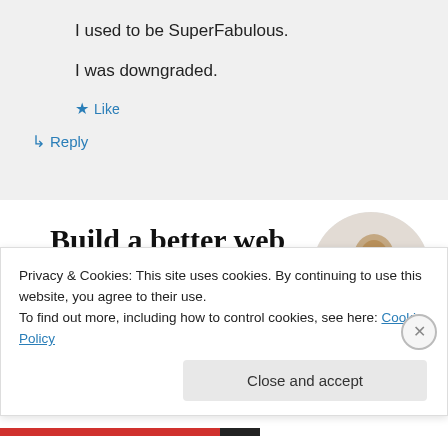I used to be SuperFabulous.

I was downgraded.
★ Like
↪ Reply
Build a better web and a better world.
Apply
[Figure (photo): A person thinking, shown in a circular cropped photo on the right side of the ad.]
Privacy & Cookies: This site uses cookies. By continuing to use this website, you agree to their use.
To find out more, including how to control cookies, see here: Cookie Policy
Close and accept